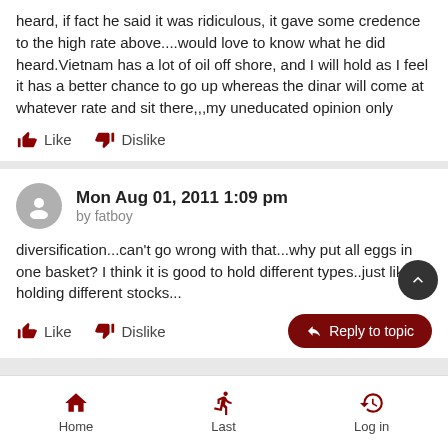heard, if fact he said it was ridiculous, it gave some credence to the high rate above....would love to know what he did heard.Vietnam has a lot of oil off shore, and I will hold as I feel it has a better chance to go up whereas the dinar will come at whatever rate and sit there,,,my uneducated opinion only
Mon Aug 01, 2011 1:09 pm by fatboy
diversification...can't go wrong with that...why put all eggs in one basket? I think it is good to hold different types..just like holding different stocks...